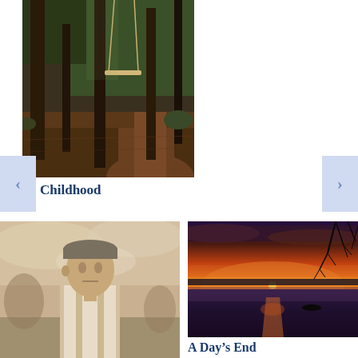[Figure (photo): A wooden swing hanging from ropes between tall trees in a dark forest, with earthy brown ground and green foliage in background. Moody, atmospheric nature photo.]
Childhood
[Figure (photo): Sepia-toned portrait of a young soldier in military cap and white shirt, looking sideways, with trees in background.]
[Figure (photo): Vibrant sunset over a misty lake with orange and red sky, silhouette of bare tree branches at top right, glowing sun on horizon, boat on water, wooden dock path leading into lake.]
A Day’s End